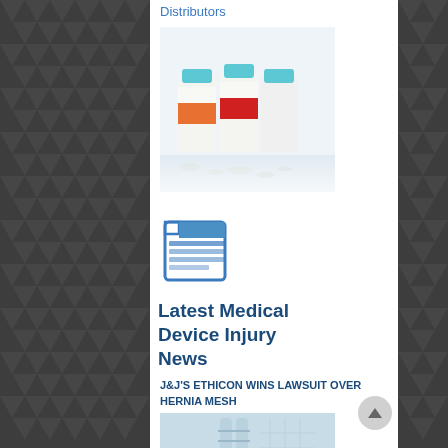Distributors
[Figure (photo): Three medicine/pharmaceutical bottles with blue and teal caps, orange labels, on a white surface with pills scattered around.]
[Figure (illustration): Newspaper icon with blue header block and horizontal text lines, representing latest news section.]
Latest Medical Device Injury News
J&J'S ETHICON WINS LAWSUIT OVER HERNIA MESH
[Figure (photo): Medical image showing spinal column / hernia mesh related imagery in blue-white tones.]